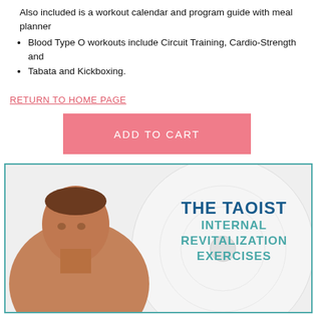Also included is a workout calendar and program guide with meal planner
Blood Type O workouts include Circuit Training, Cardio-Strength and
Tabata and Kickboxing.
RETURN TO HOME PAGE
ADD TO CART
[Figure (photo): Product image showing a man in profile next to a DVD disc labeled 'The Taoist Internal Revitalization Exercises']